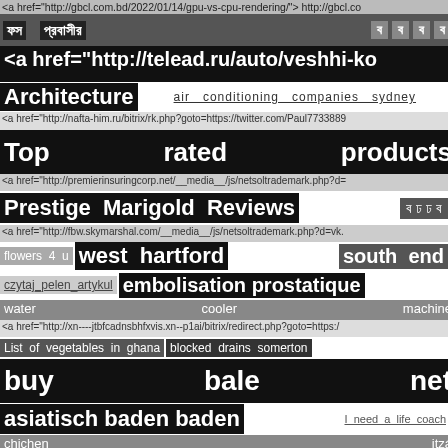<a href="http://gbcl.com.bd/2022/01/14/gpu-vs-cpu-rendering/"> http://gbcl.co
ফস        প্রবাসীর        ব   ব   ব   ব
<a href="http://telead.ru/auto/veshhi-ko
Architecture     air   conditioning   companies   sydney
<a href="http://nafta-him.ru/bitrix/rk.php?goto=https://twitter.com/Paul7733889
Top          rated          products
<a href="http://premierinsuringcorp.net/__media__/js/netsoltrademark.php?d=
Prestige  Marigold  Reviews   ব ঢ ঢ ব
<a href="http://fbw.skymarshal.com/__media__/js/netsoltrademark.php?d=vk.
flowers  4  u   west  hartford   south  end
czytaj pelen artykul  embolisation prostatique
water                  cooler                  machine
<a href="http://xn----jtbfcadnsbhfxvis.xn--p1ai/bitrix/redirect.php?goto=https:/
List  of  vegetables  in  ghana   blocked  drains  somerton
buy              bale              net
asiatisch  baden  baden   I  need  a  life  coach
chichen                                  itzá
<a href="https://twitter.com/stasik9878335/status/1499911299802841089?s=
<a href="http://highschoolsuccess.com/__media__/js/netsoltrademark.php?d=
ব ঢ sm  increase metabolism   point  of  sales  indonesia
https://Hanoiwiki.com/index.php/Th%C3%A0nh_vi%C3%AAn:Jacquie42X
lotto   160